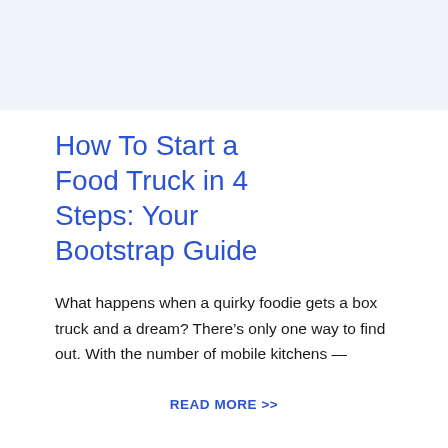How To Start a Food Truck in 4 Steps: Your Bootstrap Guide
What happens when a quirky foodie gets a box truck and a dream? There’s only one way to find out. With the number of mobile kitchens —
READ MORE >>